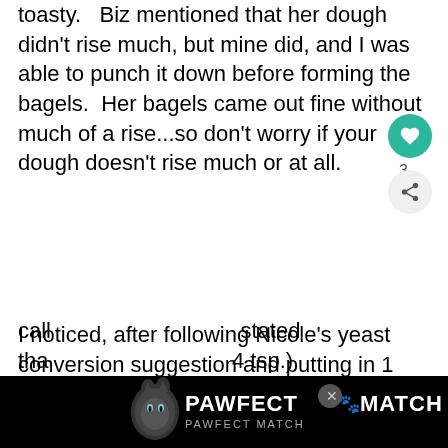toasty.   Biz mentioned that her dough didn't rise much, but mine did, and I was able to punch it down before forming the bagels.  Her bagels came out fine without much of a rise...so don't worry if your dough doesn't rise much or at all.
I noticed, after following Nicole's yeast conversion suggestion and putting in 1 1/4 tsp. of yeast into my dough ( I buy in a big container from Costco and keep it in the fridge) that both her recipe and Biz's recip...
[Figure (other): Advertisement banner at the bottom of the page showing 'PAWFECT MATCH' with a cat image, on a black background. Also shows UI elements: a teal heart button with count 3, a share button, and a close X button.]